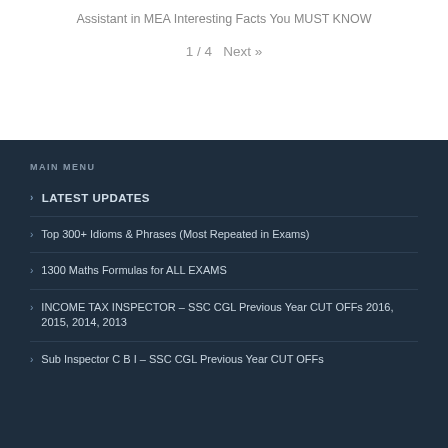Assistant in MEA Interesting Facts You MUST KNOW
1 / 4  Next »
MAIN MENU
LATEST UPDATES
Top 300+ Idioms & Phrases (Most Repeated in Exams)
1300 Maths Formulas for ALL EXAMS
INCOME TAX INSPECTOR – SSC CGL Previous Year CUT OFFs 2016, 2015, 2014, 2013
Sub Inspector C B I – SSC CGL Previous Year CUT OFFs